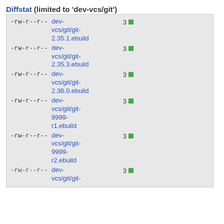Diffstat (limited to 'dev-vcs/git')
| permissions | filename | count | bar |
| --- | --- | --- | --- |
| -rw-r--r-- | dev-vcs/git/git-2.35.1.ebuild | 3 | ■ |
| -rw-r--r-- | dev-vcs/git/git-2.35.3.ebuild | 3 | ■ |
| -rw-r--r-- | dev-vcs/git/git-2.36.0.ebuild | 3 | ■ |
| -rw-r--r-- | dev-vcs/git/git-9999-r1.ebuild | 3 | ■ |
| -rw-r--r-- | dev-vcs/git/git-9999-r2.ebuild | 3 | ■ |
| -rw-r--r-- | dev-vcs/git/git-... | 3 | ■ |